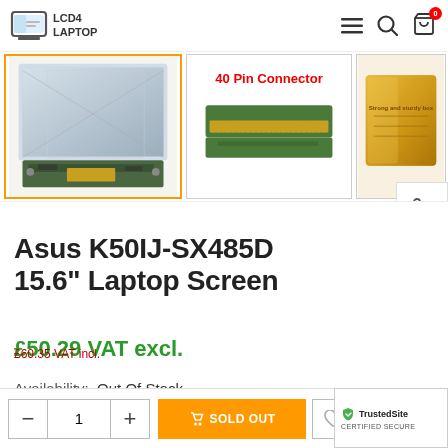[Figure (screenshot): LCD4Laptop website header with logo, hamburger menu, search icon, and shopping cart icon with badge showing 0]
[Figure (photo): Product image strip showing three thumbnail images: a laptop LCD screen, a 40-pin connector close-up, and a gold packaging box]
Asus K50IJ-SX485D 15.6" Laptop Screen
£50.29 VAT excl.
£60.35 VAT incl.
Availability:  Out Of Stock
[Figure (screenshot): Bottom bar with quantity selector (minus, 1, plus), orange SOLD OUT button, heart icon button, bar chart icon, and TrustedSite certified secure badge]